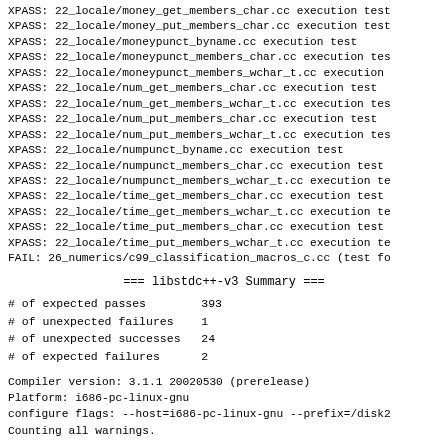XPASS: 22_locale/money_get_members_char.cc execution test
XPASS: 22_locale/money_put_members_char.cc execution test
XPASS: 22_locale/moneypunct_byname.cc execution test
XPASS: 22_locale/moneypunct_members_char.cc execution test
XPASS: 22_locale/moneypunct_members_wchar_t.cc execution
XPASS: 22_locale/num_get_members_char.cc execution test
XPASS: 22_locale/num_get_members_wchar_t.cc execution test
XPASS: 22_locale/num_put_members_char.cc execution test
XPASS: 22_locale/num_put_members_wchar_t.cc execution test
XPASS: 22_locale/numpunct_byname.cc execution test
XPASS: 22_locale/numpunct_members_char.cc execution test
XPASS: 22_locale/numpunct_members_wchar_t.cc execution test
XPASS: 22_locale/time_get_members_char.cc execution test
XPASS: 22_locale/time_get_members_wchar_t.cc execution test
XPASS: 22_locale/time_put_members_char.cc execution test
XPASS: 22_locale/time_put_members_wchar_t.cc execution test
FAIL: 26_numerics/c99_classification_macros_c.cc (test fo
=== libstdc++-v3 Summary ===
| Metric | Value |
| --- | --- |
| # of expected passes | 393 |
| # of unexpected failures | 1 |
| # of unexpected successes | 24 |
| # of expected failures | 2 |
Compiler version: 3.1.1 20020530 (prerelease)
Platform: i686-pc-linux-gnu
configure flags: --host=i686-pc-linux-gnu --prefix=/disk2
Counting all warnings.